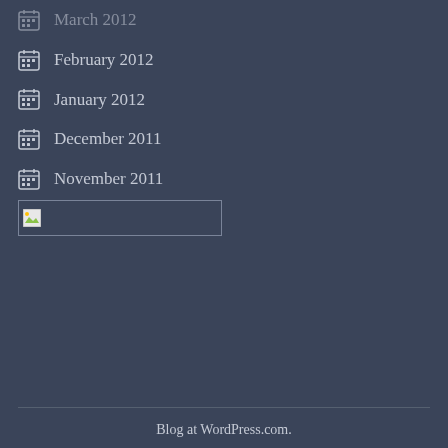March 2012
February 2012
January 2012
December 2011
November 2011
August 2011
[Figure (other): Broken image placeholder in a bordered box]
Blog at WordPress.com.